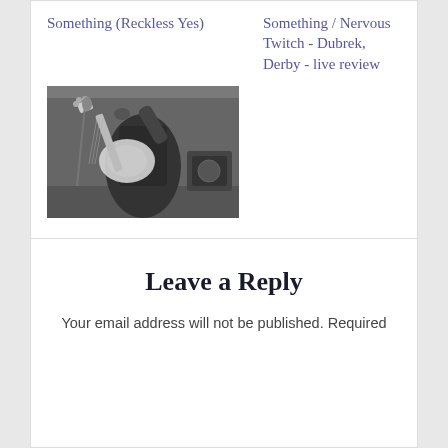Something (Reckless Yes)
Something / Nervous Twitch - Dubrek, Derby - live review
[Figure (photo): Black and white photo of a guitarist playing electric guitar on stage]
Don't Stop: an interview with Angela Martin of Bugeye
Leave a Reply
Your email address will not be published. Required